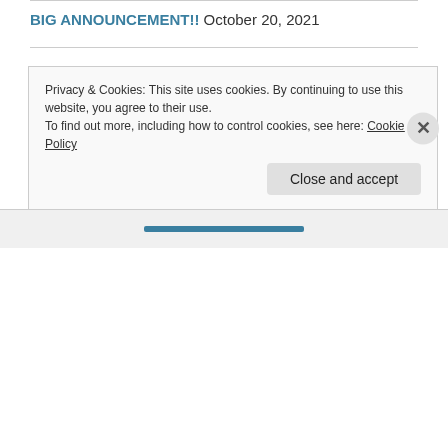BIG ANNOUNCEMENT!! October 20, 2021
Blessed Assurance: A Story of Hope (part sixteen) September 7, 2021
Blessed Assurance: A Story of Hope (part fifteen) September 2, 2021
Blessed Assurance: A Story of Hope (part fourteen) August 31, 2021
Privacy & Cookies: This site uses cookies. By continuing to use this website, you agree to their use.
To find out more, including how to control cookies, see here: Cookie Policy